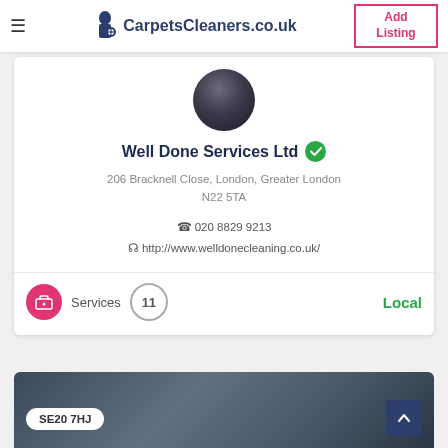CarpetsCleaners.co.uk | Add Listing
[Figure (photo): Circular avatar photo of a person, dark toned]
Well Done Services Ltd (verified)
206 Bracknell Close, London, Greater London N22 5TA
020 8829 9213
http://www.welldonecleaning.co.uk/
Services  11  Local
[Figure (photo): Bottom card with blurred background image showing SE20 7HJ postcode badge]